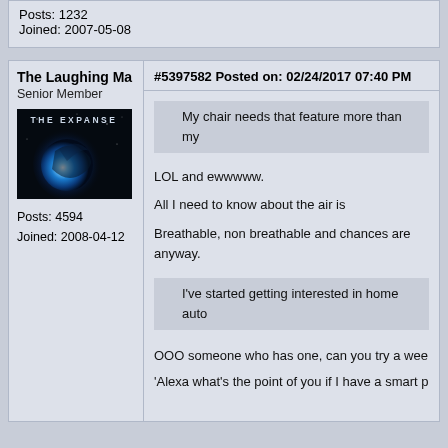Posts: 1232
Joined: 2007-05-08
The Laughing Ma
Senior Member
[Figure (photo): Avatar image showing The Expanse sci-fi artwork with a blue glowing planet/sphere against a dark background, text 'THE EXPANSE' at top]
Posts: 4594
Joined: 2008-04-12
#5397582 Posted on: 02/24/2017 07:40 PM
My chair needs that feature more than my
LOL and ewwwww.

All I need to know about the air is

Breathable, non breathable and chances are anyway.
I've started getting interested in home auto
OOO someone who has one, can you try a wee
'Alexa what's the point of you if I have a smart p